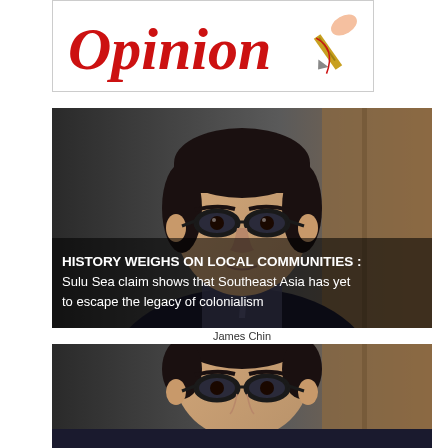[Figure (logo): Opinion section logo in red cursive script with a pen/quill graphic on the right side]
[Figure (photo): Close-up photo of an Asian man with black-rimmed glasses wearing a dark suit. Overlaid text reads: HISTORY WEIGHS ON LOCAL COMMUNITIES : Sulu Sea claim shows that Southeast Asia has yet to escape the legacy of colonialism]
James Chin
[Figure (photo): Second photo of the same Asian man with black-rimmed glasses, shown from a lower angle, partially cropped at bottom of page]